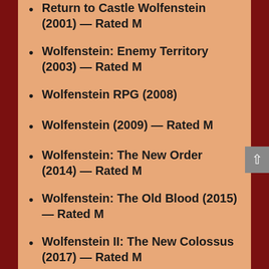Return to Castle Wolfenstein (2001) — Rated M
Wolfenstein: Enemy Territory (2003) — Rated M
Wolfenstein RPG (2008)
Wolfenstein (2009) — Rated M
Wolfenstein: The New Order (2014) — Rated M
Wolfenstein: The Old Blood (2015) — Rated M
Wolfenstein II: The New Colossus (2017) — Rated M
Wolfenstein: Youngblood (2019)
Wolfenstein: Cyberpilot (2019)